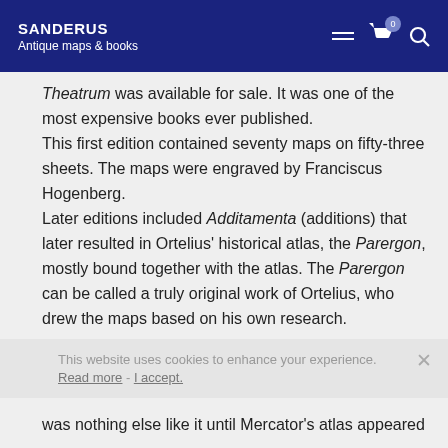SANDERUS Antique maps & books
Theatrum was available for sale. It was one of the most expensive books ever published. This first edition contained seventy maps on fifty-three sheets. The maps were engraved by Franciscus Hogenberg. Later editions included Additamenta (additions) that later resulted in Ortelius' historical atlas, the Parergon, mostly bound together with the atlas. The Parergon can be called a truly original work of Ortelius, who drew the maps based on his own research.
This website uses cookies to enhance your experience. Read more - I accept.
was nothing else like it until Mercator's atlas appeared